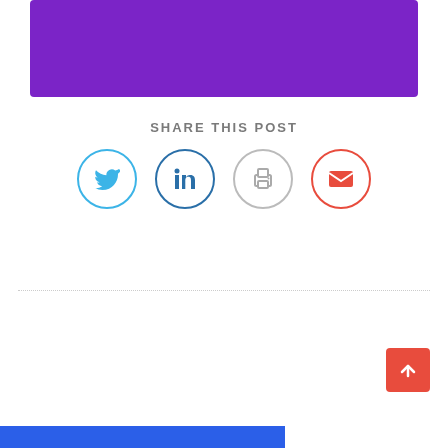[Figure (illustration): Purple banner/header block at top of page]
SHARE THIS POST
[Figure (infographic): Row of four social sharing icon circles: Twitter (blue), LinkedIn (dark blue), Print (gray), Email (red)]
[Figure (illustration): Orange/red scroll-to-top button with upward caret arrow]
[Figure (illustration): Blue footer bar at bottom left]